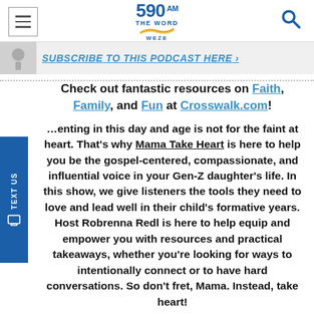590 AM THE WORD WEZE
[Figure (screenshot): Podcast subscribe banner with microphone image and text SUBSCRIBE TO THIS PODCAST HERE]
Check out fantastic resources on Faith, Family, and Fun at Crosswalk.com!
Parenting in this day and age is not for the faint at heart. That’s why Mama Take Heart is here to help you be the gospel-centered, compassionate, and influential voice in your Gen-Z daughter’s life. In this show, we give listeners the tools they need to love and lead well in their child's formative years. Host Robrenna Redl is here to help equip and empower you with resources and practical takeaways, whether you’re looking for ways to intentionally connect or to have hard conversations. So don’t fret, Mama. Instead, take heart!